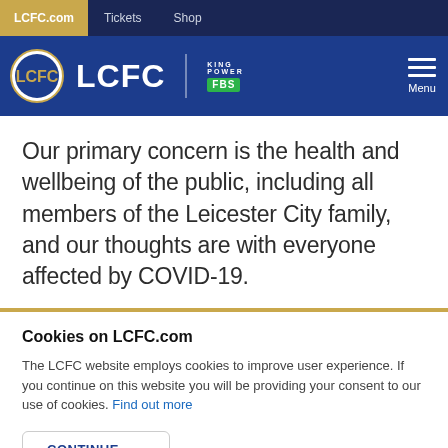LCFC.com   Tickets   Shop
[Figure (logo): Leicester City FC header with LCFC logo, King Power FBS sponsor, and Menu button]
Our primary concern is the health and wellbeing of the public, including all members of the Leicester City family, and our thoughts are with everyone affected by COVID-19.
Cookies on LCFC.com
The LCFC website employs cookies to improve user experience. If you continue on this website you will be providing your consent to our use of cookies. Find out more
CONTINUE →